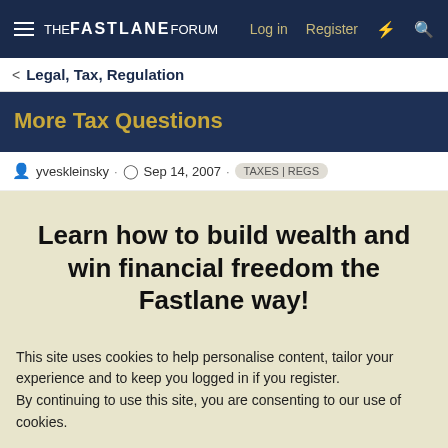THE FASTLANE FORUM  Log in  Register
Legal, Tax, Regulation
More Tax Questions
yveskleinsky · Sep 14, 2007 · TAXES | REGS
Learn how to build wealth and win financial freedom the Fastlane way!
This site uses cookies to help personalise content, tailor your experience and to keep you logged in if you register.
By continuing to use this site, you are consenting to our use of cookies.
✓ Accept   Learn more...